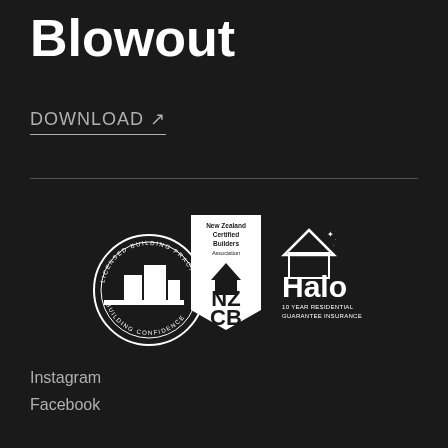Blowout
DOWNLOAD ↗
[Figure (logo): Three certification logos: Licensed Building Practitioner (circular badge with building icon), New Zealand Certified Builders Association (NZCB shield/banner logo), and Halo 10 Year Residential Guarantee Insurance (house/roof icon with text)]
Instagram
Facebook